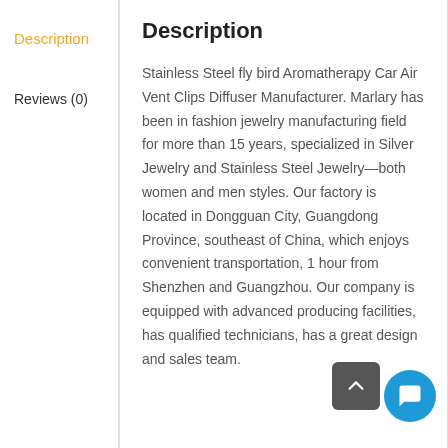Description
Reviews (0)
Description
Stainless Steel fly bird Aromatherapy Car Air Vent Clips Diffuser Manufacturer. Marlary has been in fashion jewelry manufacturing field for more than 15 years, specialized in Silver Jewelry and Stainless Steel Jewelry—both women and men styles. Our factory is located in Dongguan City, Guangdong Province, southeast of China, which enjoys convenient transportation, 1 hour from Shenzhen and Guangzhou. Our company is equipped with advanced producing facilities, has qualified technicians, has a great design and sales team.